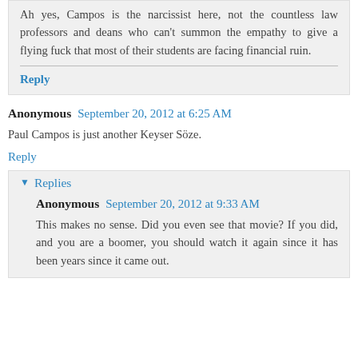Ah yes, Campos is the narcissist here, not the countless law professors and deans who can't summon the empathy to give a flying fuck that most of their students are facing financial ruin.
Reply
Anonymous  September 20, 2012 at 6:25 AM
Paul Campos is just another Keyser Söze.
Reply
Replies
Anonymous  September 20, 2012 at 9:33 AM
This makes no sense. Did you even see that movie? If you did, and you are a boomer, you should watch it again since it has been years since it came out.